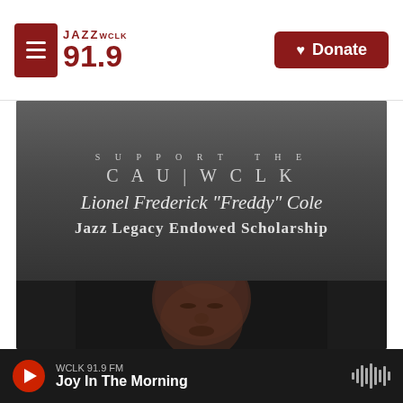JAZZ WCLK 91.9 | Donate
[Figure (photo): CAU|WCLK Lionel Frederick 'Freddy' Cole Jazz Legacy Endowed Scholarship promotional graphic with portrait photo of Freddy Cole]
WCLK 91.9 FM
Joy In The Morning